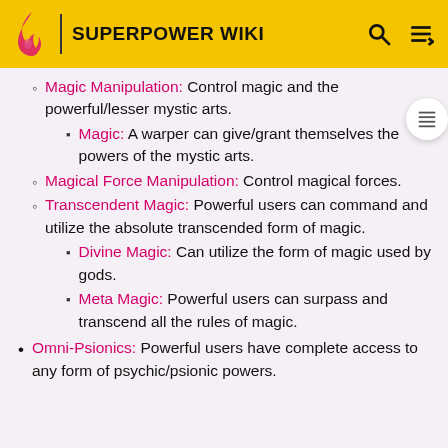SUPERPOWER WIKI
Magic Manipulation: Control magic and the powerful/lesser mystic arts.
Magic: A warper can give/grant themselves the powers of the mystic arts.
Magical Force Manipulation: Control magical forces.
Transcendent Magic: Powerful users can command and utilize the absolute transcended form of magic.
Divine Magic: Can utilize the form of magic used by gods.
Meta Magic: Powerful users can surpass and transcend all the rules of magic.
Omni-Psionics: Powerful users have complete access to any form of psychic/psionic powers.